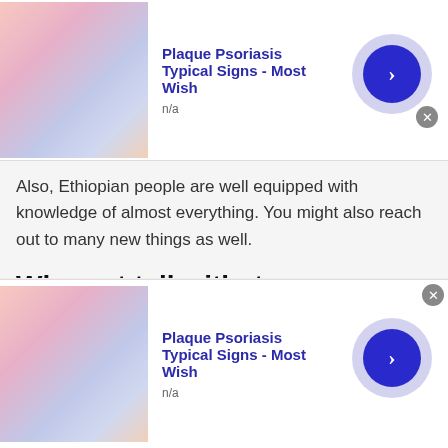[Figure (infographic): Top advertisement banner for Plaque Psoriasis with thumbnail image, title, n/a text, and blue arrow button]
Plaque Psoriasis Typical Signs - Most Wish
n/a
Also, Ethiopian people are well equipped with knowledge of almost everything. You might also reach out to many new things as well.
Why opt talkwithstranger platform?
Online places like Talkwithstranger come up with many unique yet intriguing features. These features help a person to overcome their problem very easily. Say for instance you can also choose the type of
[Figure (infographic): Bottom advertisement banner for Plaque Psoriasis with thumbnail image, title, n/a text, and blue arrow button]